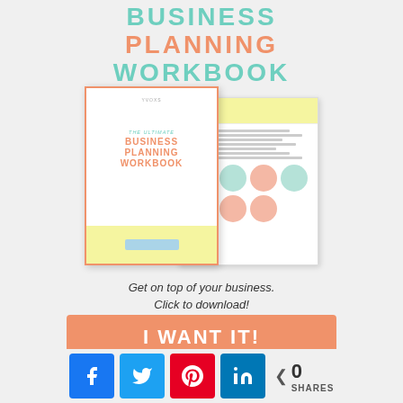BUSINESS PLANNING WORKBOOK
[Figure (illustration): Two overlapping pages of the Business Planning Workbook — front cover with orange border showing 'THE ULTIMATE BUSINESS PLANNING WORKBOOK' text and yellow bottom bar, and a back page showing yellow header, text lines, and colored circles in a grid.]
Get on top of your business. Click to download!
I WANT IT!
0 SHARES